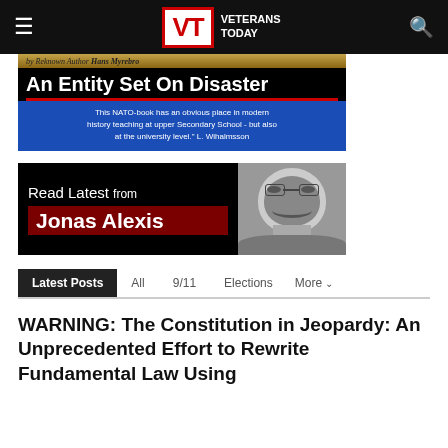Veterans Today
[Figure (illustration): Book advertisement for 'An Entity Set On Disaster' by Hans Myrebro. Gold top banner with author credit, black background with white bold title, red divider line, blue bottom section with quote: 'This NATO-book has an obvious place in modern history teaching at upper Secondary School - but also at the university level.' L. Wihalmsson]
[Figure (illustration): Promotional banner: 'Read Latest from Jonas Alexis' with black background on left side showing text and dark red name banner, and a grayscale portrait photo of Jonas Alexis on the right]
Latest Posts
WARNING: The Constitution in Jeopardy: An Unprecedented Effort to Rewrite Fundamental Law Using